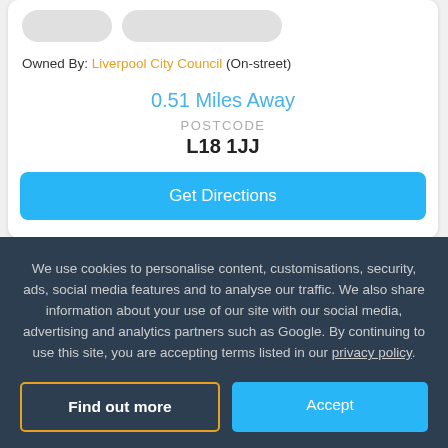Owned By: Liverpool City Council (On-street)
0.51 Miles Away
POSTCODE
L18 1JJ
Get Directions
We use cookies to personalise content, customisations, security, ads, social media features and to analyse our traffic. We also share information about your use of our site with our social media, advertising and analytics partners such as Google. By continuing to use this site, you are accepting terms listed in our privacy policy.
Find out more
Accept